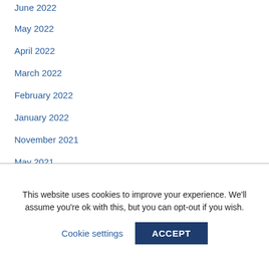June 2022
May 2022
April 2022
March 2022
February 2022
January 2022
November 2021
May 2021
April 2021
December 2020
This website uses cookies to improve your experience. We'll assume you're ok with this, but you can opt-out if you wish.